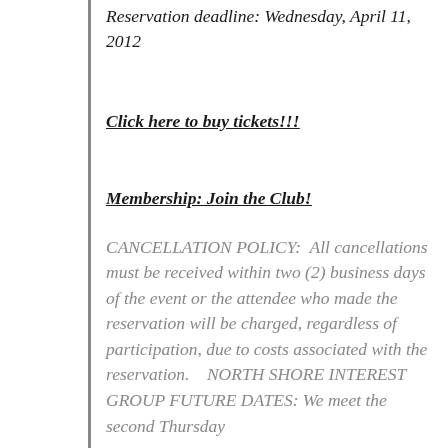Reservation deadline: Wednesday, April 11, 2012
Click here to buy tickets!!!
Membership: Join the Club!
CANCELLATION POLICY:  All cancellations must be received within two (2) business days of the event or the attendee who made the reservation will be charged, regardless of participation, due to costs associated with the reservation.   NORTH SHORE INTEREST GROUP FUTURE DATES: We meet the second Thursday